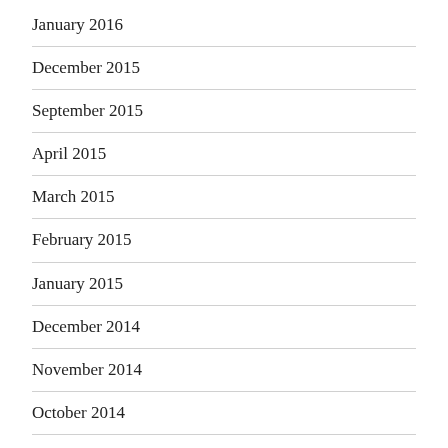January 2016
December 2015
September 2015
April 2015
March 2015
February 2015
January 2015
December 2014
November 2014
October 2014
September 2014